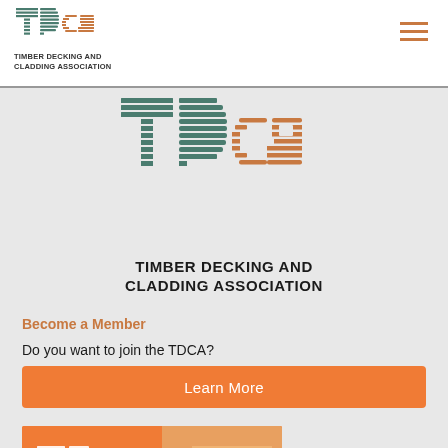[Figure (logo): TDCA (Timber Decking and Cladding Association) logo in header - small version with green and brown striped letters]
TIMBER DECKING AND
CLADDING ASSOCIATION
[Figure (logo): TDCA (Timber Decking and Cladding Association) large logo centered on grey background]
TIMBER DECKING AND CLADDING ASSOCIATION
Become a Member
Do you want to join the TDCA?
Learn More
[Figure (screenshot): Orange TDCA branded card/brochure image at bottom left showing tdca logo on orange background]